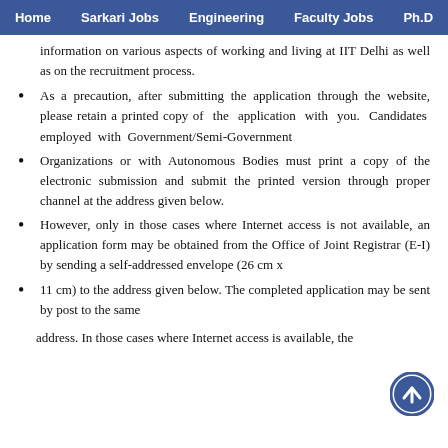Home  Sarkari Jobs  Engineering  Faculty Jobs  Ph.D
information on various aspects of working and living at IIT Delhi as well as on the recruitment process.
As a precaution, after submitting the application through the website, please retain a printed copy of the application with you. Candidates employed with Government/Semi-Government
Organizations or with Autonomous Bodies must print a copy of the electronic submission and submit the printed version through proper channel at the address given below.
However, only in those cases where Internet access is not available, an application form may be obtained from the Office of Joint Registrar (E-I) by sending a self-addressed envelope (26 cm x
11 cm) to the address given below. The completed application may be sent by post to the same
address. In those cases where Internet access is available, the